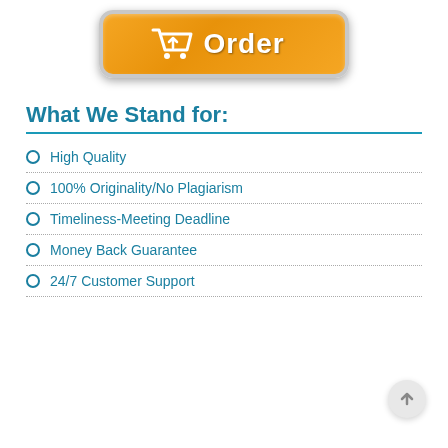[Figure (illustration): Orange 'Order' button with shopping cart icon, styled like a website CTA button with metallic border and gradient background]
What We Stand for:
High Quality
100% Originality/No Plagiarism
Timeliness-Meeting Deadline
Money Back Guarantee
24/7 Customer Support